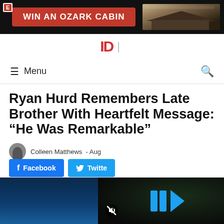[Figure (screenshot): Advertisement banner: WIN AN OZARK CABIN with cabin photo, on dark background]
ID | [site logo]
≡ Menu
Ryan Hurd Remembers Late Brother With Heartfelt Message: “He Was Remarkable”
Colleen Matthews  - Aug
Facebook  Twitter
[Figure (screenshot): Article main photo (dark blue toned image) alongside a video player overlay with blue play icon and mute button]